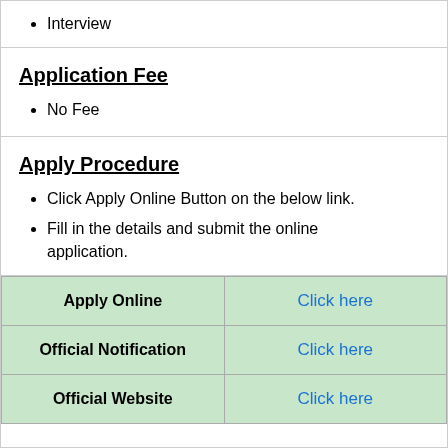Interview
Application Fee
No Fee
Apply Procedure
Click Apply Online Button on the below link.
Fill in the details and submit the online application.
|  |  |
| --- | --- |
| Apply Online | Click here |
| Official Notification | Click here |
| Official Website | Click here |